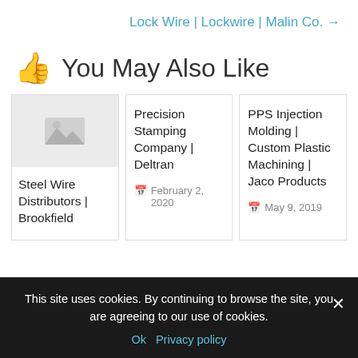Lock Wire | Lockwire | Malin Co. →
👍 You May Also Like
Steel Wire Distributors | Brookfield
Precision Stamping Company | Deltran
February 2, 2020
PPS Injection Molding | Custom Plastic Machining | Jaco Products
May 9, 2019
This site uses cookies. By continuing to browse the site, you are agreeing to our use of cookies.
Ok  Privacy policy